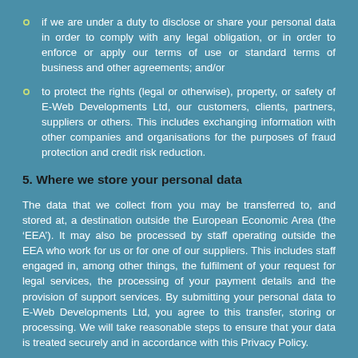if we are under a duty to disclose or share your personal data in order to comply with any legal obligation, or in order to enforce or apply our terms of use or standard terms of business and other agreements; and/or
to protect the rights (legal or otherwise), property, or safety of E-Web Developments Ltd, our customers, clients, partners, suppliers or others. This includes exchanging information with other companies and organisations for the purposes of fraud protection and credit risk reduction.
5. Where we store your personal data
The data that we collect from you may be transferred to, and stored at, a destination outside the European Economic Area (the ‘EEA’). It may also be processed by staff operating outside the EEA who work for us or for one of our suppliers. This includes staff engaged in, among other things, the fulfilment of your request for legal services, the processing of your payment details and the provision of support services. By submitting your personal data to E-Web Developments Ltd, you agree to this transfer, storing or processing. We will take reasonable steps to ensure that your data is treated securely and in accordance with this Privacy Policy.
All information you provide to us is stored on secure servers. Where we have given you (or where you have chosen) a password which enables you to access certain parts of our site, you are responsible for keeping this password confidential. We ask you not to share a password with